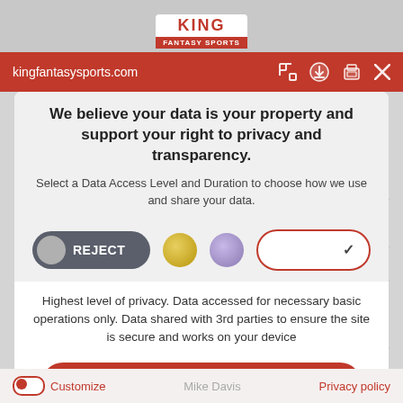[Figure (screenshot): King Fantasy Sports logo at top, partial website screenshot]
kingfantasysports.com
We believe your data is your property and support your right to privacy and transparency.
Select a Data Access Level and Duration to choose how we use and share your data.
[Figure (infographic): Privacy control row: Reject toggle button (dark gray with gray circle), gold circle, purple circle, and a dropdown selector with checkmark bordered in red]
Highest level of privacy. Data accessed for necessary basic operations only. Data shared with 3rd parties to ensure the site is secure and works on your device
Save my preferences
Customize   Mike Davis   Privacy policy